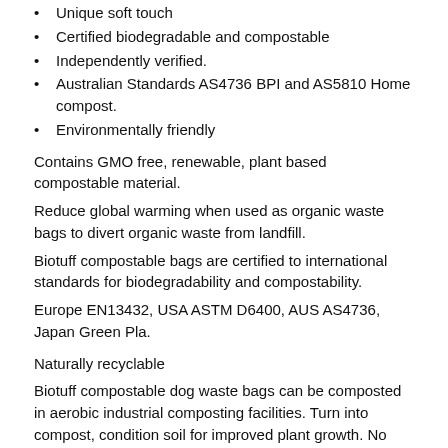Unique soft touch
Certified biodegradable and compostable
Independently verified.
Australian Standards AS4736 BPI and AS5810 Home compost.
Environmentally friendly
Contains GMO free, renewable, plant based compostable material.
Reduce global warming when used as organic waste bags to divert organic waste from landfill.
Biotuff compostable bags are certified to international standards for biodegradability and compostability.
Europe EN13432, USA ASTM D6400, AUS AS4736, Japan Green Pla.
Naturally recyclable
Biotuff compostable dog waste bags can be composted in aerobic industrial composting facilities. Turn into compost, condition soil for improved plant growth. No change to current composting practices.
Bag size 20 cm x 22 cm